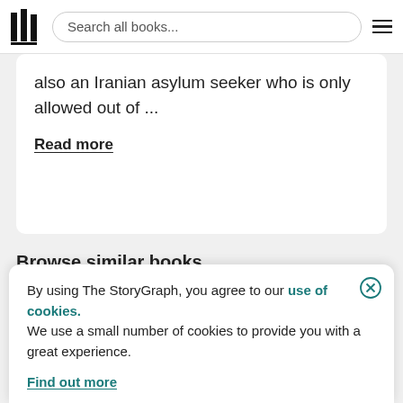Search all books...
also an Iranian asylum seeker who is only allowed out of ...
Read more
Browse similar books...
Personalised similar books  Plus
By using The StoryGraph, you agree to our use of cookies.
We use a small number of cookies to provide you with a great experience.
Find out more